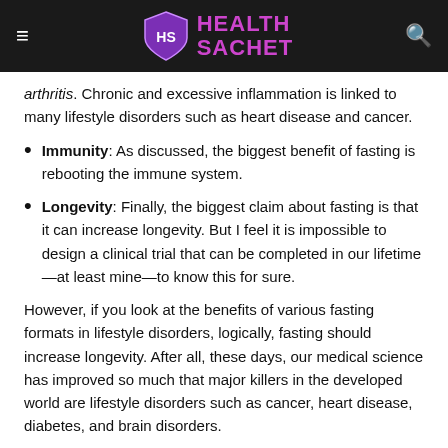Health Sachet
arthritis. Chronic and excessive inflammation is linked to many lifestyle disorders such as heart disease and cancer.
Immunity: As discussed, the biggest benefit of fasting is rebooting the immune system.
Longevity: Finally, the biggest claim about fasting is that it can increase longevity. But I feel it is impossible to design a clinical trial that can be completed in our lifetime—at least mine—to know this for sure.
However, if you look at the benefits of various fasting formats in lifestyle disorders, logically, fasting should increase longevity. After all, these days, our medical science has improved so much that major killers in the developed world are lifestyle disorders such as cancer, heart disease, diabetes, and brain disorders.